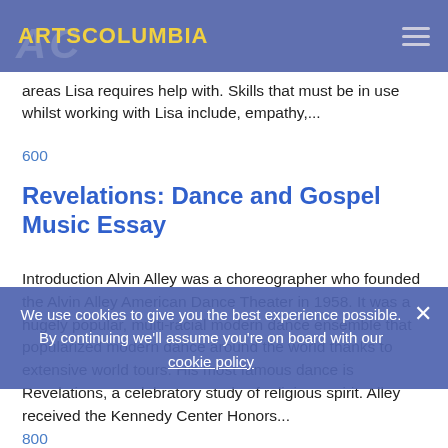ARTSCOLUMBIA
areas Lisa requires help with. Skills that must be in use whilst working with Lisa include, empathy,...
600
Revelations: Dance and Gospel Music Essay
Introduction Alvin Alley was a choreographer who founded the Alvin Alley American Dance Theater in 1958. It was a hugely popular, multi-racial modern dance ensemble that popularized modern dance around the world thanks to extensive world tours. His most famous dance is Revelations, a celebratory study of religious spirit. Alley received the Kennedy Center Honors...
800
We use cookies to give you the best experience possible. By continuing we'll assume you're on board with our cookie policy